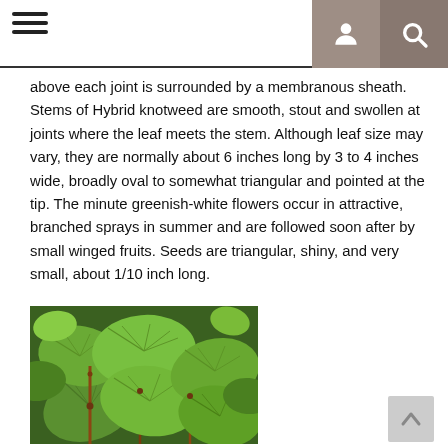[navigation header with hamburger menu and icons]
above each joint is surrounded by a membranous sheath. Stems of Hybrid knotweed are smooth, stout and swollen at joints where the leaf meets the stem. Although leaf size may vary, they are normally about 6 inches long by 3 to 4 inches wide, broadly oval to somewhat triangular and pointed at the tip. The minute greenish-white flowers occur in attractive, branched sprays in summer and are followed soon after by small winged fruits. Seeds are triangular, shiny, and very small, about 1/10 inch long.
[Figure (photo): Photograph of knotweed plant showing large green leaves with visible veining on stems with reddish-brown coloring]
Figure 2. Knotweed plant. Photograph: Lynn